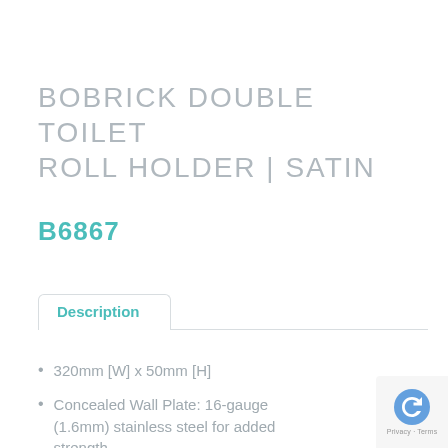BOBRICK DOUBLE TOILET ROLL HOLDER | SATIN
B6867
Description
320mm [W] x 50mm [H]
Concealed Wall Plate: 16-gauge (1.6mm) stainless steel for added strength